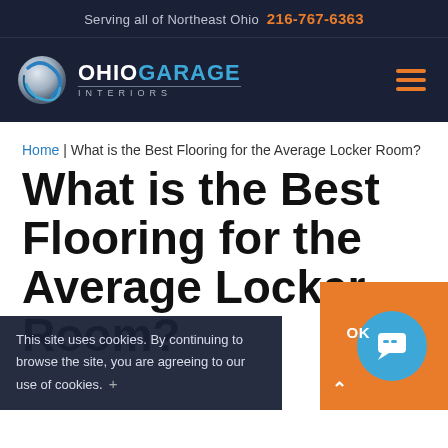Serving all of Northeast Ohio 216-767-6363
[Figure (logo): Ohio Garage Interiors logo with stylized circular graphic and text]
Home | What is the Best Flooring for the Average Locker Room?
What is the Best Flooring for the Average Locker Room?
This site uses cookies. By continuing to browse the site, you are agreeing to our use of cookies.